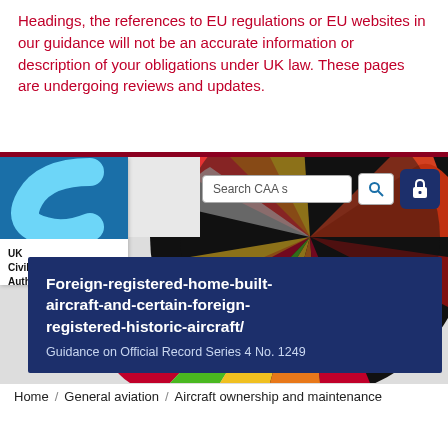Headings, the references to EU regulations or EU websites in our guidance will not be an accurate information or description of your obligations under UK law. These pages are undergoing reviews and updates.
[Figure (screenshot): UK Civil Aviation Authority website header with logo, search bar, and hero image of colourful hot air balloon. Dark blue overlay box shows page title 'Foreign-registered-home-built-aircraft-and-certain-foreign-registered-historic-aircraft/' and subtitle 'Guidance on Official Record Series 4 No. 1249']
Home / General aviation / Aircraft ownership and maintenance